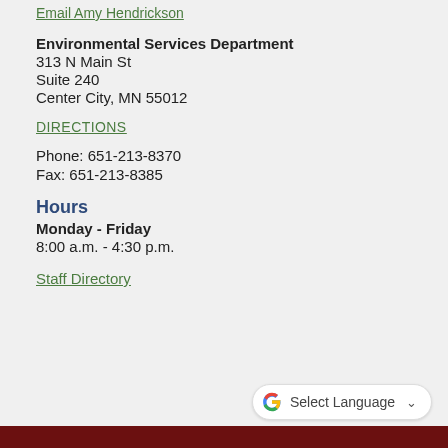Email Amy Hendrickson
Environmental Services Department
313 N Main St
Suite 240
Center City, MN 55012
DIRECTIONS
Phone: 651-213-8370
Fax: 651-213-8385
Hours
Monday - Friday
8:00 a.m. - 4:30 p.m.
Staff Directory